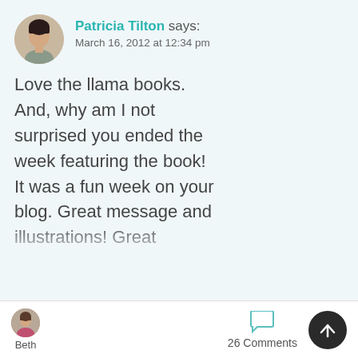[Figure (photo): Circular avatar photo of Patricia Tilton, a woman with dark hair]
Patricia Tilton says:
March 16, 2012 at 12:34 pm
Love the llama books. And, why am I not surprised you ended the week featuring the book! It was a fun week on your blog. Great message and illustrations! Great
[Figure (photo): Small circular avatar of Beth, a person with reddish top]
Beth
26 Comments